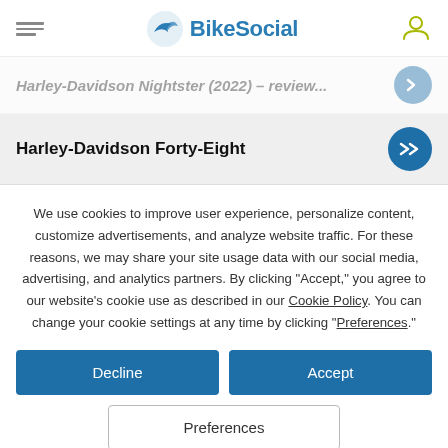BikeSocial
Harley-Davidson Nightster (2022) – review...
Harley-Davidson Forty-Eight
We use cookies to improve user experience, personalize content, customize advertisements, and analyze website traffic. For these reasons, we may share your site usage data with our social media, advertising, and analytics partners. By clicking "Accept," you agree to our website's cookie use as described in our Cookie Policy. You can change your cookie settings at any time by clicking "Preferences."
Decline
Accept
Preferences